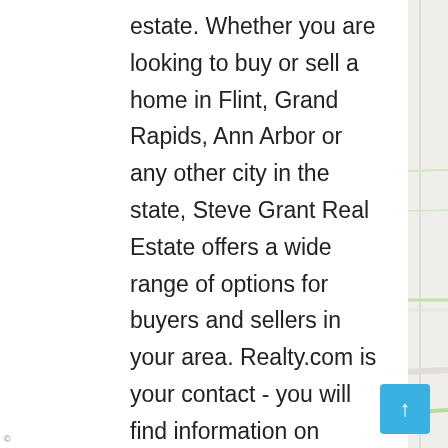estate. Whether you are looking to buy or sell a home in Flint, Grand Rapids, Ann Arbor or any other city in the state, Steve Grant Real Estate offers a wide range of options for buyers and sellers in your area. Realty.com is your contact - you will find information on buying and selling houses, refinancing options for buyers and sellers, and connections to the leading real estate agents in our region! As a licensed broker for Michigan and the United States, Movoto has the latest real estate data, including lower home prices, recently purchased